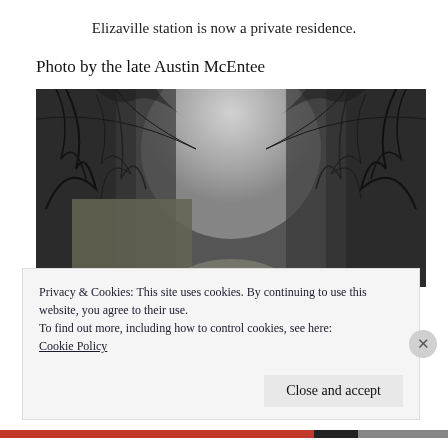Elizaville station is now a private residence.
Photo by the late Austin McEntee
[Figure (photo): Black and white photograph showing a road or path flanked by bare winter trees on both sides, with a stone wall or structure visible on the left, and a pale misty sky visible in the background between the trees.]
Privacy & Cookies: This site uses cookies. By continuing to use this website, you agree to their use.
To find out more, including how to control cookies, see here: Cookie Policy
Close and accept